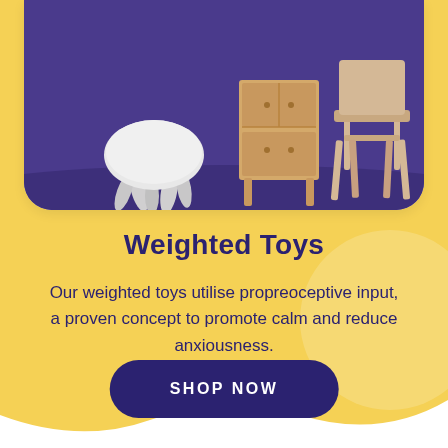[Figure (photo): Product photo showing children's furniture including a white blob-shaped stool and wooden high chair on a purple floor background]
Weighted Toys
Our weighted toys utilise propreoceptive input, a proven concept to promote calm and reduce anxiousness.
SHOP NOW